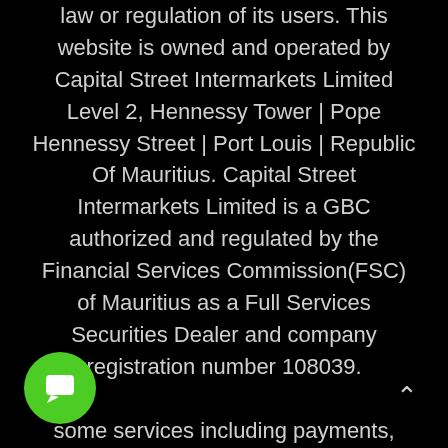law or regulation of its users. This website is owned and operated by Capital Street Intermarkets Limited Level 2, Hennessy Tower | Pope Hennessy Street | Port Louis | Republic Of Mauritius. Capital Street Intermarkets Limited is a GBC authorized and regulated by the Financial Services Commission(FSC) of Mauritius as a Full Services Securities Dealer and company registration number 108039. some services including payments, technology and support are jointly provided by Minus Zero Technologies Limited (UK Company No: 12968862)